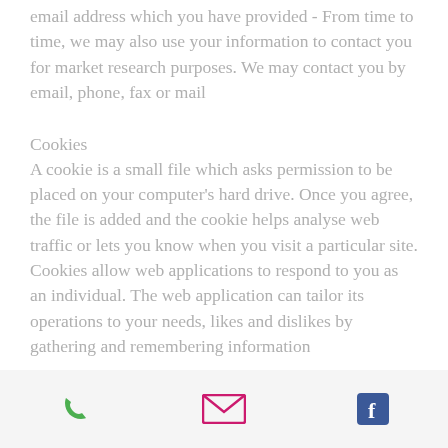email address which you have provided - From time to time, we may also use your information to contact you for market research purposes. We may contact you by email, phone, fax or mail
Cookies
A cookie is a small file which asks permission to be placed on your computer's hard drive. Once you agree, the file is added and the cookie helps analyse web traffic or lets you know when you visit a particular site. Cookies allow web applications to respond to you as an individual. The web application can tailor its operations to your needs, likes and dislikes by gathering and remembering information about your preferences
Phone | Email | Facebook